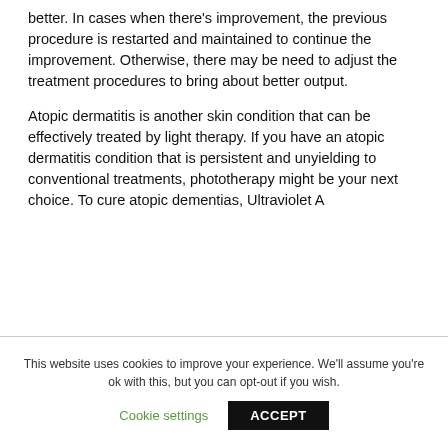better. In cases when there's improvement, the previous procedure is restarted and maintained to continue the improvement. Otherwise, there may be need to adjust the treatment procedures to bring about better output.
Atopic dermatitis is another skin condition that can be effectively treated by light therapy. If you have an atopic dermatitis condition that is persistent and unyielding to conventional treatments, phototherapy might be your next choice. To cure atopic dementias, Ultraviolet A
This website uses cookies to improve your experience. We'll assume you're ok with this, but you can opt-out if you wish.
Cookie settings   ACCEPT